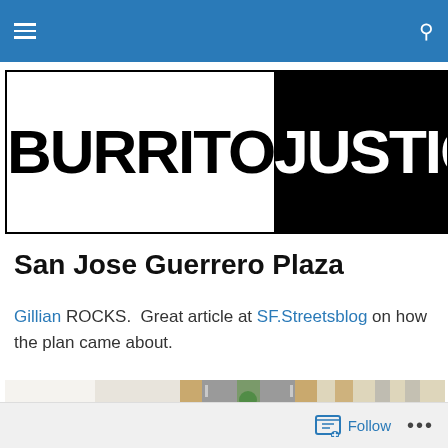Burrito Justice blog header navigation bar
[Figure (logo): Burrito Justice blog logo — left half white background with black text 'BURRITO', right half black background with white text 'JUSTICE']
San Jose Guerrero Plaza
Gillian ROCKS.  Great article at SF.Streetsblog on how the plan came about.
[Figure (illustration): Street plan diagram showing a median with large street trees north of 28th St, with 8' median annotation. Shows Jose Ave label on right side with street cross-section rendering.]
Follow